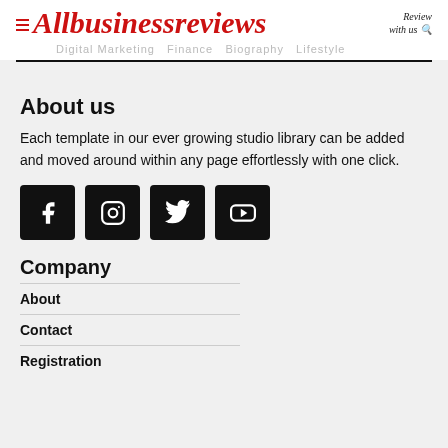Allbusinessreviews — Review with us
About us
Each template in our ever growing studio library can be added and moved around within any page effortlessly with one click.
[Figure (infographic): Four social media icon buttons (Facebook, Instagram, Twitter, YouTube) as black square buttons with white icons.]
Company
About
Contact
Registration